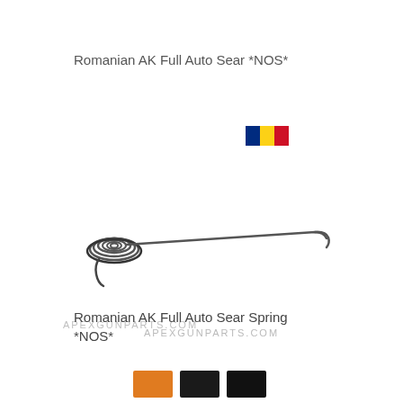Romanian AK Full Auto Sear *NOS*
[Figure (photo): Photo of a metal torsion spring part (Romanian AK Full Auto Sear) with a coiled end on the left and a long straight wire arm extending to the right with a small hook at the end. A small Romanian flag icon appears above-right of the part. A watermark reads APEXGUNPARTS.COM below the part.]
Romanian AK Full Auto Sear Spring *NOS*
[Figure (other): Three color swatches at the bottom: orange, black, dark black/charcoal]